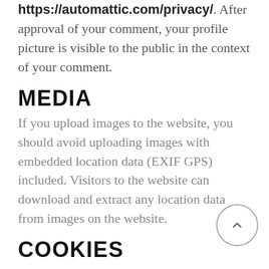https://automattic.com/privacy/. After approval of your comment, your profile picture is visible to the public in the context of your comment.
MEDIA
If you upload images to the website, you should avoid uploading images with embedded location data (EXIF GPS) included. Visitors to the website can download and extract any location data from images on the website.
COOKIES
If you leave a comment on our site you may opt-in to saving your name, email address and website in cookies. These are for your convenience so that you do not have to fill in your details